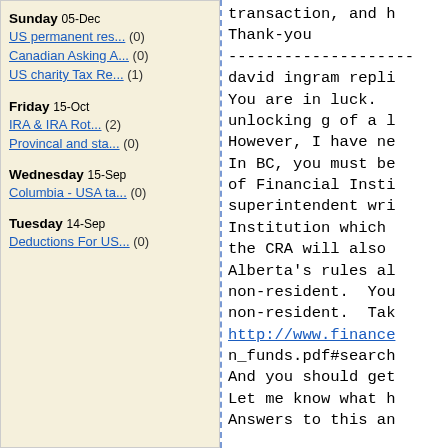Sunday 05-Dec
US permanent res... (0)
Canadian Asking A... (0)
US charity Tax Re... (1)
Friday 15-Oct
IRA & IRA Rot... (2)
Provincal and sta... (0)
Wednesday 15-Sep
Columbia - USA ta... (0)
Tuesday 14-Sep
Deductions For US... (0)
transaction, and h
Thank-you
-------------------
david ingram repli
You are in luck.
unlocking g of a l
However, I have ne
In BC, you must be
of Financial Insti
superintendent wri
Institution which
the CRA will also
Alberta's rules al
non-resident.  You
non-resident.  Tak
http://www.finance
n_funds.pdf#search
And you should get
Let me know what h
Answers to this an